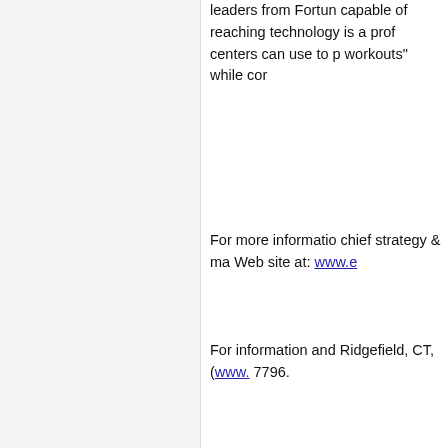leaders from Fortun... capable of reaching... technology is a prof... centers can use to p... workouts" while cor...
For more informatio... chief strategy & ma... Web site at: www.e...
For information and... Ridgefield, CT, (www.... 7796.